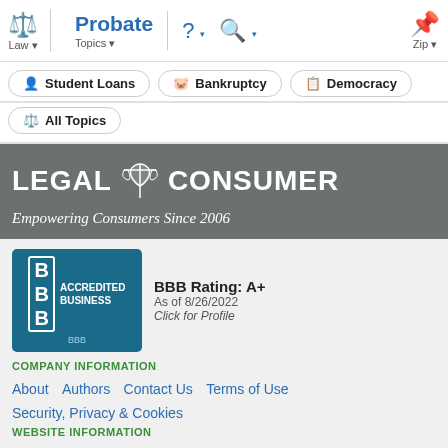Law | Probate | Topics | Zip
Student Loans
Bankruptcy
Democracy
All Topics
[Figure (logo): LegalConsumer logo with scales of justice icon, white text on grey background]
Empowering Consumers Since 2006
[Figure (logo): BBB Accredited Business badge, teal/blue background]
BBB Rating: A+
As of 8/26/2022
Click for Profile
COMPANY INFORMATION
About    Authors    Contact Us    Terms of Use    Security, Privacy & Cookies
WEBSITE INFORMATION
Browse All Topics    Lawyers Near Me    50-State Voter Registration